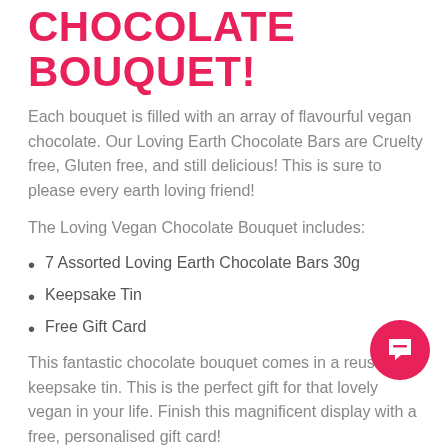CHOCOLATE BOUQUET!
Each bouquet is filled with an array of flavourful vegan chocolate. Our Loving Earth Chocolate Bars are Cruelty free, Gluten free, and still delicious! This is sure to please every earth loving friend!
The Loving Vegan Chocolate Bouquet includes:
7 Assorted Loving Earth Chocolate Bars 30g
Keepsake Tin
Free Gift Card
This fantastic chocolate bouquet comes in a reusable keepsake tin. This is the perfect gift for that lovely vegan in your life. Finish this magnificent display with a free, personalised gift card!